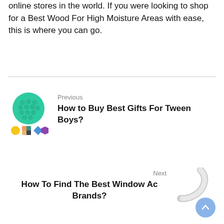online stores in the world. If you were looking to shop for a Best Wood For High Moisture Areas with ease, this is where you can go.
[Figure (illustration): Pop-it fidget toy (round green bubble toy with colorful small icons below it) used as thumbnail for previous article link]
Previous
How to Buy Best Gifts For Tween Boys?
[Figure (illustration): White flexible duct/hose tube image used as thumbnail for next article link, with a blue scroll-to-top button]
Next
How To Find The Best Window Ac Brands?